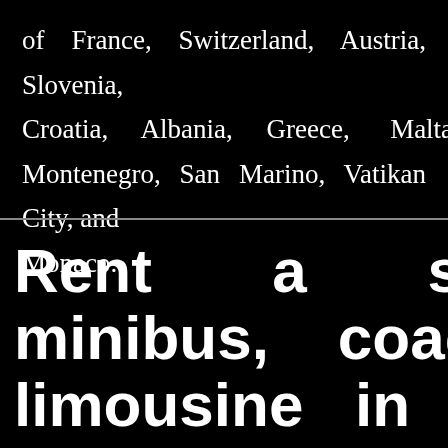of France, Switzerland, Austria, Slovenia, Croatia, Albania, Greece, Malta, Montenegro, San Marino, Vatikan City, and Monaco.
Rent a stainless minibus, coach, or limousine in Milano and its surroundings